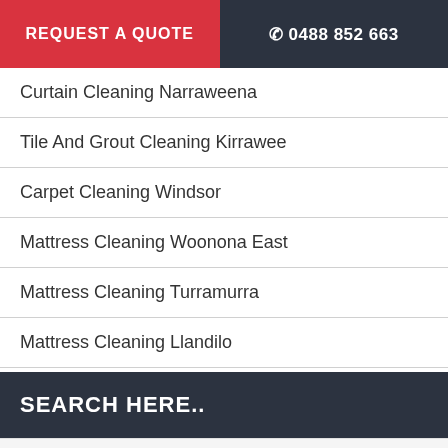REQUEST A QUOTE   0488 852 663
Curtain Cleaning Narraweena
Tile And Grout Cleaning Kirrawee
Carpet Cleaning Windsor
Mattress Cleaning Woonona East
Mattress Cleaning Turramurra
Mattress Cleaning Llandilo
SEARCH HERE..